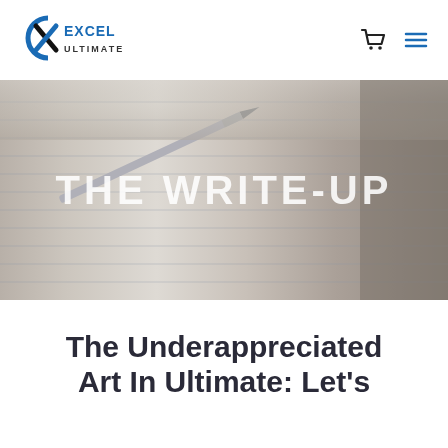[Figure (logo): Excel Ultimate logo — stylized X/C icon in black and blue with text EXCEL ULTIMATE]
[Figure (screenshot): Hero banner with blurred notebook/pen background and large white bold text reading THE WRITE-UP]
The Underappreciated Art In Ultimate: Let's